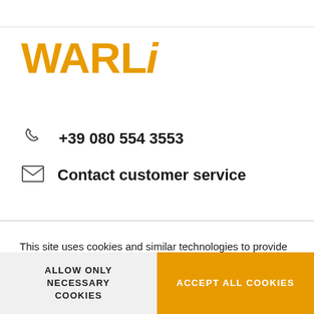[Figure (logo): WARLi logo in orange bold font with italic i]
+39 080 554 3553
Contact customer service
This site uses cookies and similar technologies to provide its services and to understand and improve the user's browsing experience.
By clicking on "Accept all cookies" you agree to the use of these cookies.
Please see our Cookie Policy for more information.
ALLOW ONLY NECESSARY COOKIES
ACCEPT ALL COOKIES